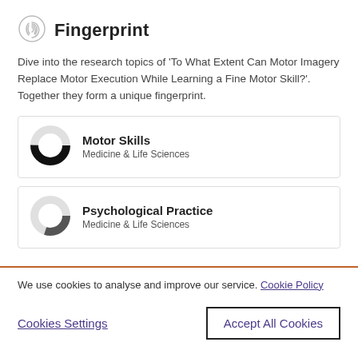Fingerprint
Dive into the research topics of 'To What Extent Can Motor Imagery Replace Motor Execution While Learning a Fine Motor Skill?'. Together they form a unique fingerprint.
[Figure (infographic): Donut chart showing approximately 75% fill for Motor Skills, Medicine & Life Sciences]
[Figure (infographic): Donut chart showing approximately 55% fill for Psychological Practice, Medicine & Life Sciences]
We use cookies to analyse and improve our service. Cookie Policy
Cookies Settings
Accept All Cookies